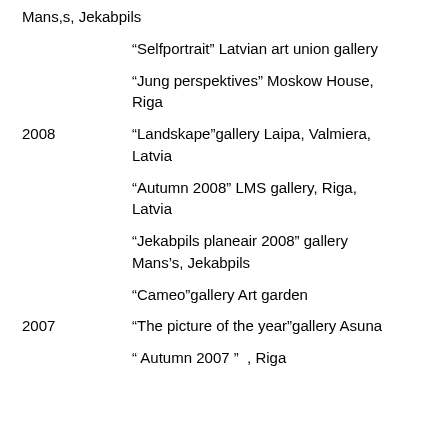Mans,s, Jekabpils
“Selfportrait” Latvian art union gallery
“Jung perspektives” Moskow House, Riga
2008   “Landskape”gallery Laipa, Valmiera, Latvia
“Autumn 2008” LMS gallery, Riga, Latvia
“Jekabpils planeair 2008” gallery Mans’s, Jekabpils
“Cameo”gallery Art garden
2007   “The picture of the year”gallery Asuna
“ Autumn 2007 ”  , Riga